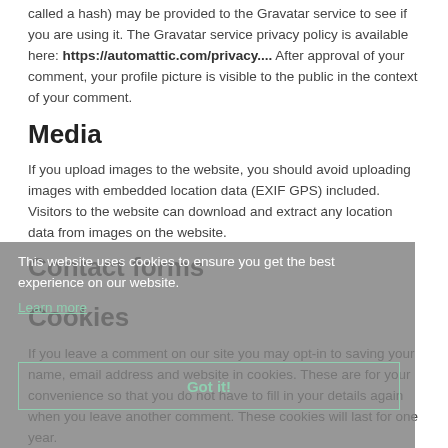called a hash) may be provided to the Gravatar service to see if you are using it. The Gravatar service privacy policy is available here: https://automattic.com/privacy.... After approval of your comment, your profile picture is visible to the public in the context of your comment.
Media
If you upload images to the website, you should avoid uploading images with embedded location data (EXIF GPS) included. Visitors to the website can download and extract any location data from images on the website.
Contact forms
Cookies
This website uses cookies to ensure you get the best experience on our website.
Learn more
Got it!
If you leave a comment on our site you may opt-in to saving your name, email address and website in cookies. These are for your convenience so that you do not have to fill in your details again when you leave another comment. These cookies will last for one year.